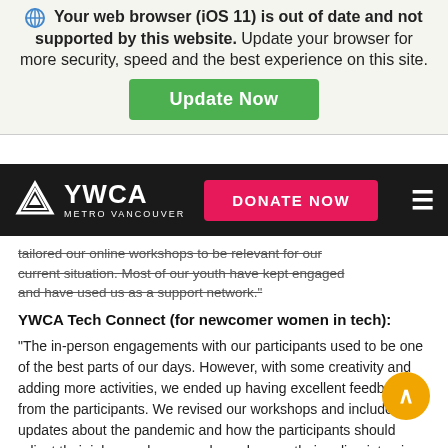[Figure (screenshot): Browser warning overlay on a YWCA Metro Vancouver webpage. Warning reads: 'Your web browser (iOS 11) is out of date and not supported by this website. Update your browser for more security, speed and the best experience on this site.' with a green 'Update Now' button.]
[Figure (screenshot): YWCA Metro Vancouver navigation bar with logo on the left, pink 'DONATE NOW' button in the center-right, and hamburger menu icon on the right.]
tailored our online workshops to be relevant for our current situation. Most of our youth have kept engaged and have used us as a support network."
YWCA Tech Connect (for newcomer women in tech):
"The in-person engagements with our participants used to be one of the best parts of our days. However, with some creativity and adding more activities, we ended up having excellent feedback from the participants. We revised our workshops and included updates about the pandemic and how the participants should adjust their job search approaches, sharpen their online interview skills and connect with employers."